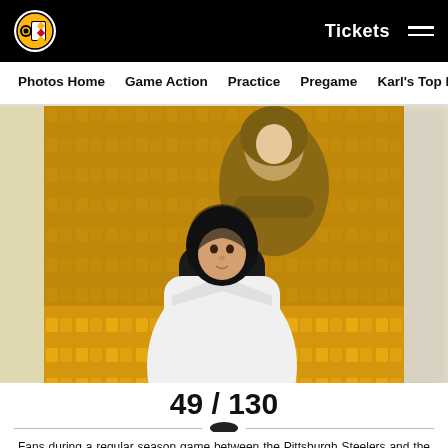Tickets
Photos Home | Game Action | Practice | Pregame | Karl's Top Pics
[Figure (photo): A fan at Heinz Field holding a sign reading 'THIS ISNT GOODBYE ITS SEE YOU LATER (IN CANTON)' during a Pittsburgh Steelers vs Cleveland Browns game, with yellow stadium seats visible in the background.]
49 / 130
Fans during a regular season game between the Pittsburgh Steelers and the Cleveland Browns, Monday, Jan. 3, 2022 in Pittsburgh, PA. (Karl Roser / Pittsburgh Steelers)
Karl Roser/Pittsburgh Steelers